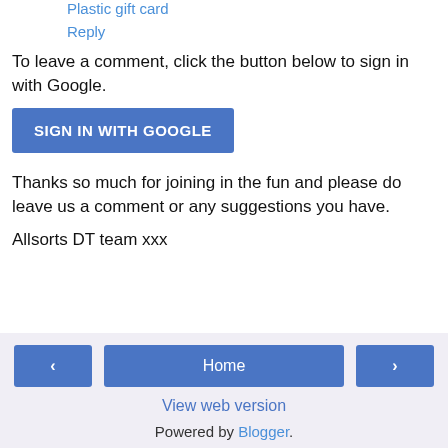Plastic gift card
Reply
To leave a comment, click the button below to sign in with Google.
[Figure (other): Blue 'SIGN IN WITH GOOGLE' button]
Thanks so much for joining in the fun and please do leave us a comment or any suggestions you have.
Allsorts DT team xxx
< Home > View web version Powered by Blogger.